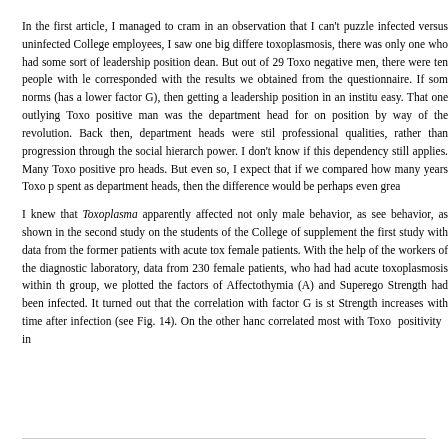In the first article, I managed to cram in an observation that I can't puzzle infected versus uninfected College employees, I saw one big differe toxoplasmosis, there was only one who had some sort of leadership position dean. But out of 29 Toxo negative men, there were ten people with le corresponded with the results we obtained from the questionnaire. If som norms (has a lower factor G), then getting a leadership position in an institu easy. That one outlying Toxo positive man was the department head for on position by way of the revolution. Back then, department heads were stil professional qualities, rather than progression through the social hierarch power. I don't know if this dependency still applies. Many Toxo positive pr heads. But even so, I expect that if we compared how many years Toxo p spent as department heads, then the difference would be perhaps even grea
I knew that Toxoplasma apparently affected not only male behavior, as see behavior, as shown in the second study on the students of the College of supplement the first study with data from the former patients with acute tox female patients. With the help of the workers of the diagnostic laboratory, data from 230 female patients, who had had acute toxoplasmosis within th group, we plotted the factors of Affectothymia (A) and Superego Strength had been infected. It turned out that the correlation with factor G is st Strength increases with time after infection (see Fig. 14). On the other hanc correlated most with Toxo positivity in